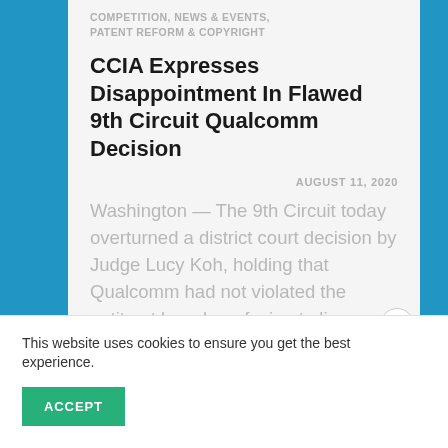COMPETITION, NEWS & EVENTS, PATENT REFORM & COPYRIGHT
CCIA Expresses Disappointment In Flawed 9th Circuit Qualcomm Decision
AUGUST 11, 2020
Washington — The 9th Circuit today overturned a district court decision by Judge Lucy Koh, holding that Qualcomm had not violated the antitrust laws by refusing to license competitors in violation of its
This website uses cookies to ensure you get the best experience.